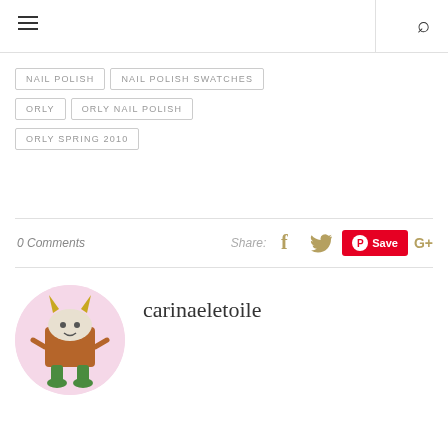navigation menu | search
NAIL POLISH
NAIL POLISH SWATCHES
ORLY
ORLY NAIL POLISH
ORLY SPRING 2010
0 Comments   Share:  [Facebook] [Twitter] [Pinterest Save] [Google+]
carinaeletoile